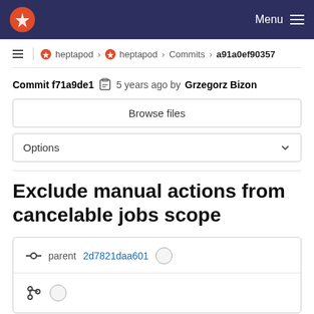heptapod > heptapod > Commits > a91a0ef90357
Commit f71a9de1  5 years ago by Grzegorz Bizon
Browse files
Options
Exclude manual actions from cancelable jobs scope
parent 2d7821daa601